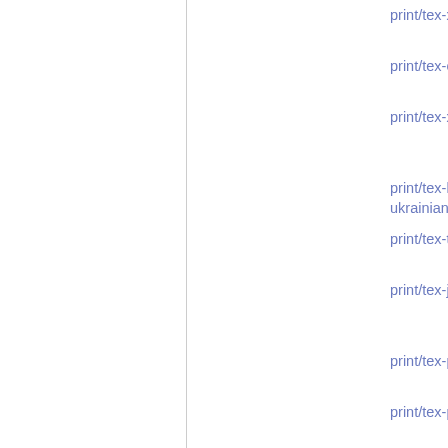| Package | Description |
| --- | --- |
| print/tex-xunicode-doc | Documentation xunicode |
| print/tex-carlisle-doc | Documentation carlisle |
| print/tex-xcomment | Allows environments included/excluded |
| print/tex-hyphen-ukrainian | Hyphenation pa... Ukrainian |
| print/tex-titlesec-doc | Documentation titlesec |
| print/tex-jadetex | Macros supporti... DSSSL output |
| print/tex-path-doc | Documentation fo... |
| print/tex-path | LaTeX package t... paths |
| print/tex-underscore | Control the beha... in text |
| print/tex-babel | Multilingual su... LaTeX, L... XeLaTeX and Pl... |